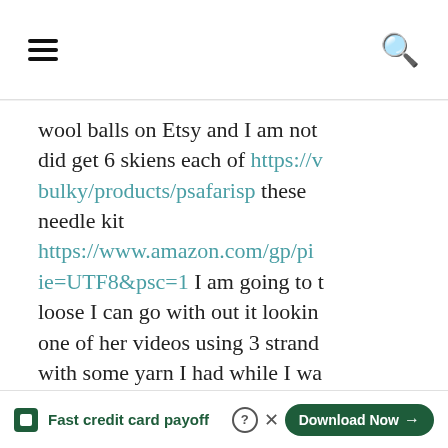Navigation header with hamburger menu and search icon
wool balls on Etsy and I am not did get 6 skiens each of https://v bulky/products/psafarisp these needle kit https://www.amazon.com/gp/pi ie=UTF8&psc=1 I am going to t loose I can go with out it lookin one of her videos using 3 strand with some yarn I had while I wa pretty since the gaps withing ga disappointment ‘Jumbo” yarn fo thought about using the yarn so
Tally - Fast credit card payoff - Download Now